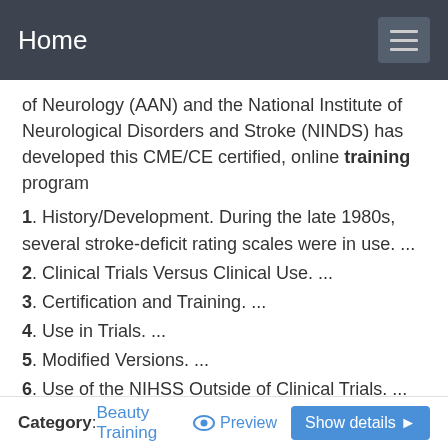Home
of Neurology (AAN) and the National Institute of Neurological Disorders and Stroke (NINDS) has developed this CME/CE certified, online training program
1. History/Development. During the late 1980s, several stroke-deficit rating scales were in use. ...
2. Clinical Trials Versus Clinical Use. ...
3. Certification and Training. ...
4. Use in Trials. ...
5. Modified Versions. ...
6. Use of the NIHSS Outside of Clinical Trials. ...
7. Future Studies. ...
8. Conclusions. ...
9. Acknowledgments. ...
10. Footnotes. ...
Category: Beauty Training  Preview  Show details